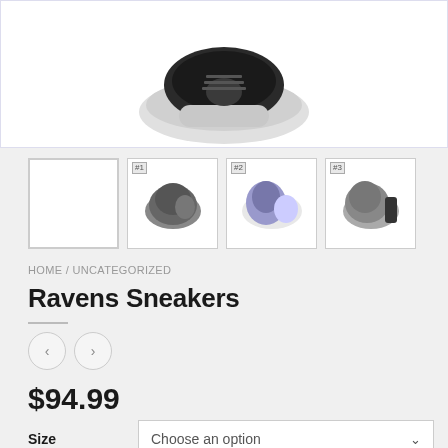[Figure (photo): Top portion of a black and white sneaker (Ravens Sneakers) shown from above against a white background]
[Figure (photo): Thumbnail gallery row: blank white selected thumbnail, then three Ravens Sneakers thumbnails labeled #1, #2, #3 showing dark grey, blue/white, and grey colorways]
HOME / UNCATEGORIZED
Ravens Sneakers
$94.99
Size  Choose an option
Model  Choose an option